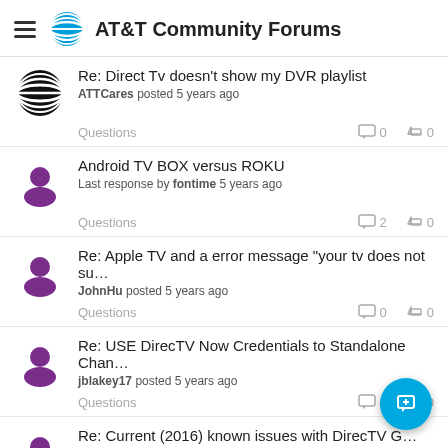AT&T Community Forums
Re: Direct Tv doesn't show my DVR playlist — ATTCares posted 5 years ago — Questions — 0 comments, 0 likes
Android TV BOX versus ROKU — Last response by fontime 5 years ago — Questions — 2 comments, 0 likes
Re: Apple TV and a error message "your tv does not su... — JohnHu posted 5 years ago — Questions — 0 comments, 0 likes
Re: USE DirecTV Now Credentials to Standalone Chan... — jblakey17 posted 5 years ago — Questions — 0 comments, 0 likes
Re: Current (2016) known issues with DirecTV G... — Last response by dtvnotverygood 5 years ago